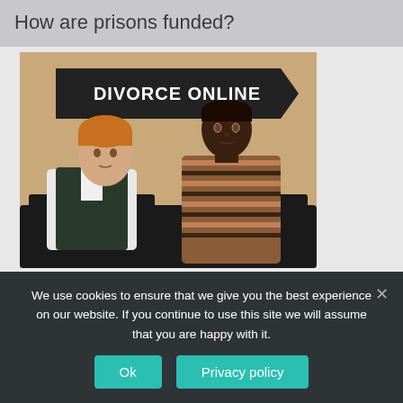How are prisons funded?
[Figure (photo): Two people sitting on a black sofa looking at each other with tension. A dark banner above reads 'DIVORCE ONLINE'. The man on the left wears an orange beanie and dark vest over a white shirt. The woman on the right wears a striped brown and black long-sleeve top.]
We use cookies to ensure that we give you the best experience on our website. If you continue to use this site we will assume that you are happy with it.
Ok
Privacy policy